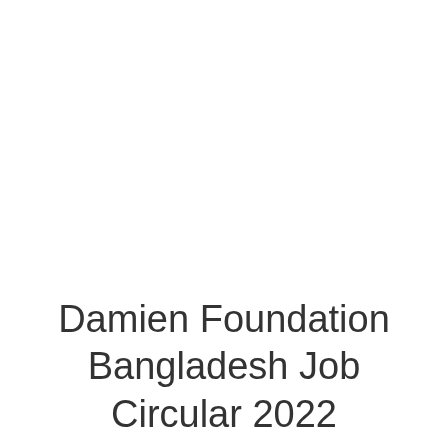Damien Foundation Bangladesh Job Circular 2022